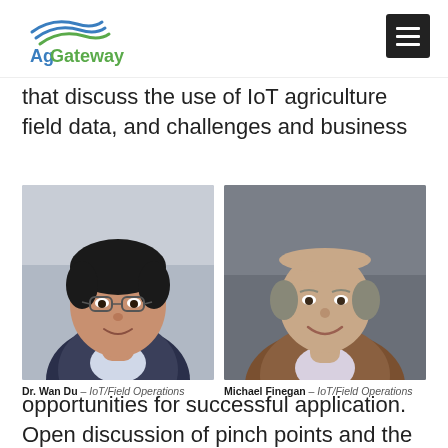AgGateway
that discuss the use of IoT agriculture field data, and challenges and business
[Figure (photo): Headshot photo of Dr. Wan Du, a man wearing glasses and a dark blazer]
Dr. Wan Du – IoT/Field Operations
[Figure (photo): Headshot photo of Michael Finegan, a man in a brown blazer smiling]
Michael Finegan – IoT/Field Operations
opportunities for successful application. Open discussion of pinch points and the challenges organizations are facing. Session 1 is